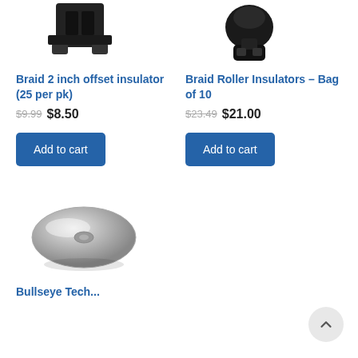[Figure (photo): Black bracket/clamp hardware product image (top, cropped) - left product]
[Figure (photo): Black roller insulator hardware product image (top, cropped) - right product]
Braid 2 inch offset insulator (25 per pk)
$9.99 $8.50
Add to cart
Braid Roller Insulators – Bag of 10
$23.49 $21.00
Add to cart
[Figure (photo): Silver oval / egg-shaped insulator product image]
Bullseye Tech...